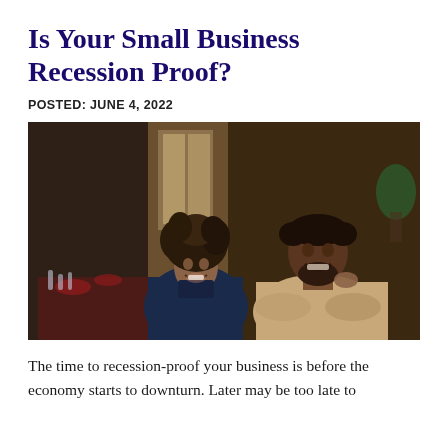Is Your Small Business Recession Proof?
POSTED: JUNE 4, 2022
[Figure (photo): Two smiling small business owners, a woman with curly hair in a dark turtleneck and a man with crossed arms in a beige sweater, standing in what appears to be a restaurant interior.]
The time to recession-proof your business is before the economy starts to downturn. Later may be too late to